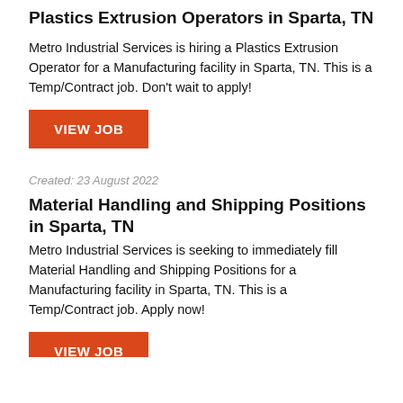Plastics Extrusion Operators in Sparta, TN
Metro Industrial Services is hiring a Plastics Extrusion Operator for a Manufacturing facility in Sparta, TN. This is a Temp/Contract job. Don't wait to apply!
[Figure (other): Orange button with white text: VIEW JOB]
Created: 23 August 2022
Material Handling and Shipping Positions in Sparta, TN
Metro Industrial Services is seeking to immediately fill Material Handling and Shipping Positions for a Manufacturing facility in Sparta, TN. This is a Temp/Contract job. Apply now!
[Figure (other): Orange button with white text: VIEW JOB (partially visible at bottom)]